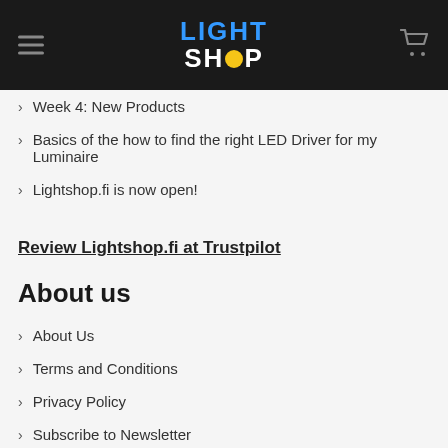LIGHT SHOP
Week 4: New Products
Basics of the how to find the right LED Driver for my Luminaire
Lightshop.fi is now open!
Review Lightshop.fi at Trustpilot
About us
About Us
Terms and Conditions
Privacy Policy
Subscribe to Newsletter
Shipping information
Contact us